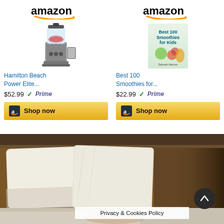[Figure (screenshot): Amazon product card: Hamilton Beach Power Elite blender product with Amazon logo, product image of blender, title 'Hamilton Beach Power Elite...', price '$52.99', Prime badge, and 'Shop now' button]
[Figure (screenshot): Amazon product card: Best 100 Smoothies for Kids book with Amazon logo, book cover image, title 'Best 100 Smoothies for...', price '$22.99', Prime badge, and 'Shop now' button]
[Figure (photo): Photo of a bed with white pillows on a wooden headboard with warm brown tones]
Privacy & Cookies Policy